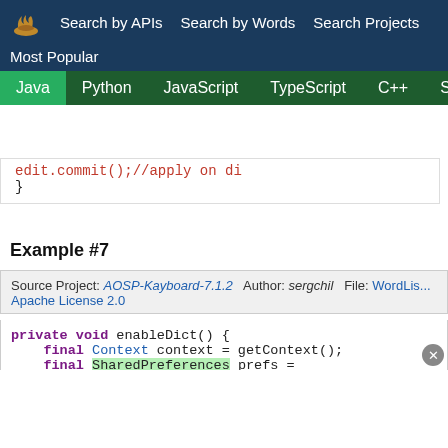Search by APIs  Search by Words  Search Projects  Most Popular  Java  Python  JavaScript  TypeScript  C++  Scala
[Figure (screenshot): Code snippet showing edit.commit(); //apply on di and closing brace]
Example #7
Source Project: AOSP-Kayboard-7.1.2  Author: sergchil  File: WordLis...  Apache License 2.0
[Figure (screenshot): Java code block: private void enableDict() { final Context context = getContext(); final SharedPreferences prefs = CommonPreference...  CommonPreferences.enable(prefs, mWordlistId); // Explicit enabling by the user : allow downlo...]